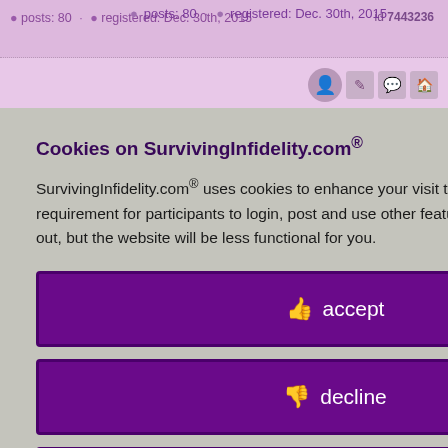posts: 80 · registered: Dec. 30th, 2015  id 7443236
[Figure (screenshot): Background of SurvivingInfidelity.com website with purple/pink theme, showing partial forum post content on the right side and a cookie consent overlay on the left.]
Cookies on SurvivingInfidelity.com®
SurvivingInfidelity.com® uses cookies to enhance your visit to our website. This is a requirement for participants to login, post and use other features. Visitors may opt out, but the website will be less functional for you.
accept
decline
about cookies
Policy